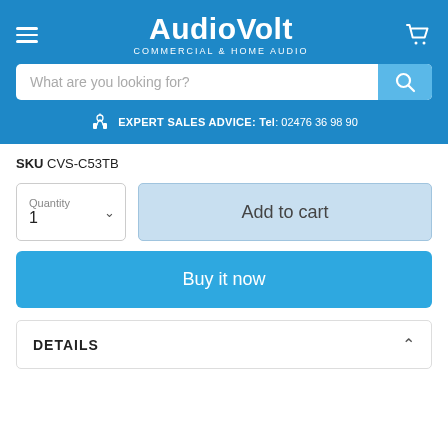[Figure (screenshot): AudioVolt website header with logo, hamburger menu, cart icon, search bar, and expert sales advice contact info]
SKU CVS-C53TB
[Figure (screenshot): Quantity selector dropdown showing '1' and 'Add to cart' button]
[Figure (screenshot): 'Buy it now' blue button]
DETAILS